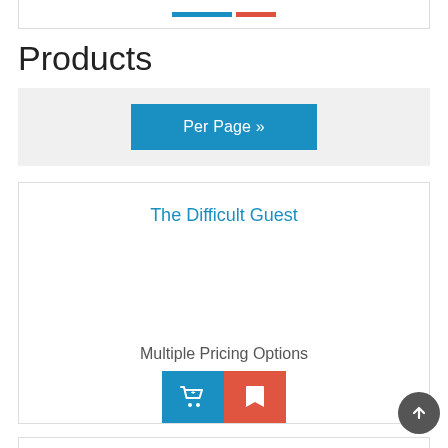[Figure (screenshot): Partial top of a product card with blue and red bars visible]
Products
Per Page »
The Difficult Guest
Multiple Pricing Options
[Figure (screenshot): Add to cart (blue) and wishlist (red) buttons with icons]